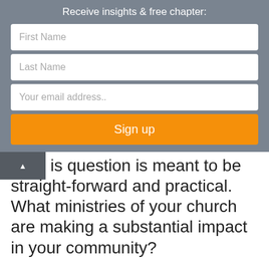Receive insights & free chapter:
First Name
Last Name
Your email address..
Sign up
is question is meant to be straight-forward and practical. What ministries of your church are making a substantial impact in your community?
The word “substantial” isn’t necessarily about the amount of